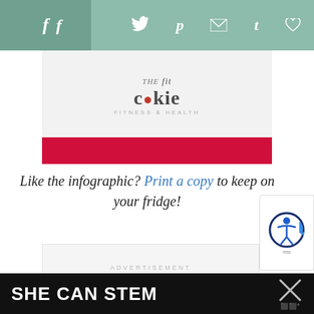Social sharing bar with icons: f (Facebook), Twitter, Pinterest, Email, Tumblr, Heart
[Figure (logo): The Fit Cookie logo with cursive 'fit' script, cookie dot on the 'o', and tagline]
Like the infographic? Print a copy to keep on your fridge!
ADVERTISEMENT
[Figure (other): Accessibility widget icon - blue circular person symbol with arrow]
194
[Figure (other): What's Next panel: 4 Ways to Improve you...]
SHE CAN STEM